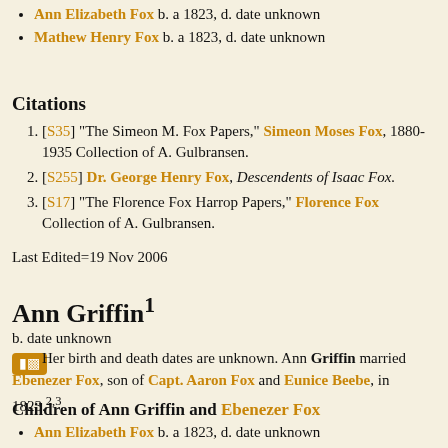Ann Elizabeth Fox b. a 1823, d. date unknown
Mathew Henry Fox b. a 1823, d. date unknown
Citations
[S35] "The Simeon M. Fox Papers," Simeon Moses Fox, 1880-1935 Collection of A. Gulbransen.
[S255] Dr. George Henry Fox, Descendents of Isaac Fox.
[S17] "The Florence Fox Harrop Papers," Florence Fox Collection of A. Gulbransen.
Last Edited=19 Nov 2006
Ann Griffin¹
b. date unknown
[Figure (other): Pedigree/family tree icon button]
Her birth and death dates are unknown. Ann Griffin married Ebenezer Fox, son of Capt. Aaron Fox and Eunice Beebe, in 1823.²³
Children of Ann Griffin and Ebenezer Fox
Ann Elizabeth Fox b. a 1823, d. date unknown
Mathew Henry Fox b. a 1823, d. date unknown